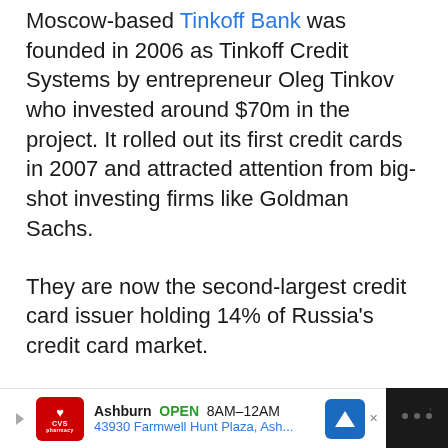Moscow-based Tinkoff Bank was founded in 2006 as Tinkoff Credit Systems by entrepreneur Oleg Tinkov who invested around $70m in the project. It rolled out its first credit cards in 2007 and attracted attention from big-shot investing firms like Goldman Sachs.
They are now the second-largest credit card issuer holding 14% of Russia's credit card market.
2011 saw the launch of their mobile banking platform and after raising $90 million in 2012, they were ready for IPO on the London Stock Exchange that brought in a further $1.1 billion.
[Figure (other): CVS Pharmacy advertisement banner: Ashburn OPEN 8AM-12AM, 43930 Farmwell Hunt Plaza, Ash...]